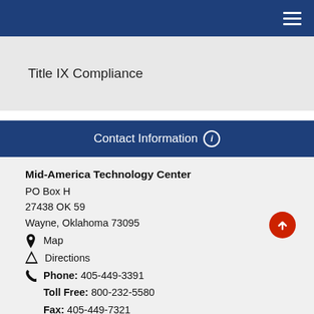Navigation bar with hamburger menu
Title IX Compliance
Contact Information
Mid-America Technology Center
PO Box H
27438 OK 59
Wayne, Oklahoma 73095
Map
Directions
Phone: 405-449-3391
Toll Free: 800-232-5580
Fax: 405-449-7321